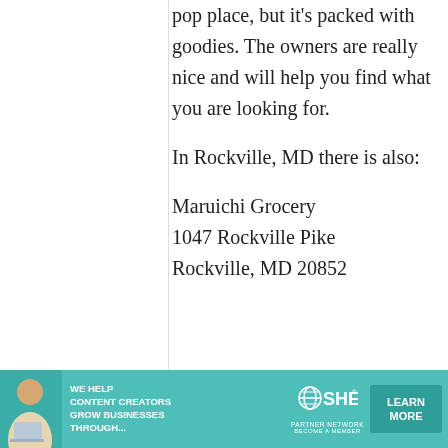pop place, but it's packed with goodies. The owners are really nice and will help you find what you are looking for.

In Rockville, MD there is also:

Maruichi Grocery
1047 Rockville Pike
Rockville, MD 20852
[Figure (photo): Advertisement banner for SHE Media Partner Network. Teal/green background with a woman photo on the left, bold text 'WE HELP CONTENT CREATORS GROW BUSINESSES THROUGH...', SHE logo in center, and a 'LEARN MORE' button on the right.]